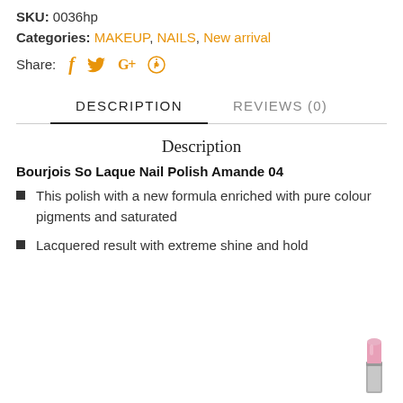SKU: 0036hp
Categories: MAKEUP, NAILS, New arrival
Share: f  (twitter bird)  G+  (pinterest)
DESCRIPTION
REVIEWS (0)
Description
Bourjois So Laque Nail Polish Amande 04
This polish with a new formula enriched with pure colour pigments and saturated
Lacquered result with extreme shine and hold
[Figure (illustration): Small illustration of a pink lipstick with silver/grey base in the bottom right corner]